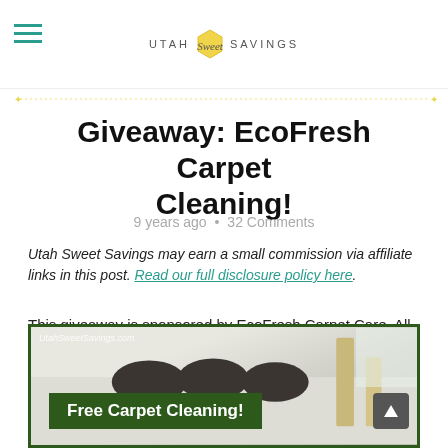UTAH Sweet SAVINGS
Giveaway: EcoFresh Carpet Cleaning!
9 years ago • 32 Comments
Utah Sweet Savings may earn a small commission via affiliate links in this post. Read our full disclosure policy here.
This giveaway is sponsored by EcoFresh Carpet Care. All opinions are my own.
[Figure (photo): Photo of carpet cleaning with a green bordered frame. Text overlay reads 'Free Carpet Cleaning!' on a dark green banner. Watermark: UtahSweetSavings.com]